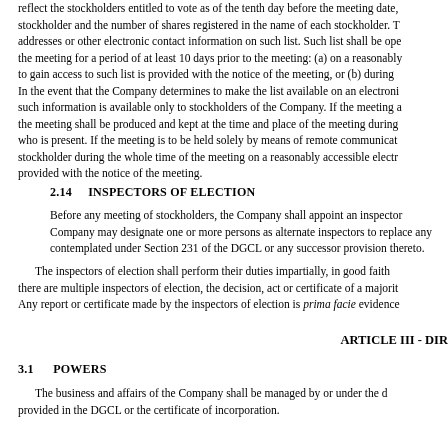reflect the stockholders entitled to vote as of the tenth day before the meeting date, stockholder and the number of shares registered in the name of each stockholder. T addresses or other electronic contact information on such list. Such list shall be ope the meeting for a period of at least 10 days prior to the meeting: (a) on a reasonably to gain access to such list is provided with the notice of the meeting, or (b) during In the event that the Company determines to make the list available on an electroni such information is available only to stockholders of the Company. If the meeting a the meeting shall be produced and kept at the time and place of the meeting during who is present. If the meeting is to be held solely by means of remote communicat stockholder during the whole time of the meeting on a reasonably accessible electr provided with the notice of the meeting.
2.14    INSPECTORS OF ELECTION
Before any meeting of stockholders, the Company shall appoint an inspector Company may designate one or more persons as alternate inspectors to replace any contemplated under Section 231 of the DGCL or any successor provision thereto.
The inspectors of election shall perform their duties impartially, in good faith there are multiple inspectors of election, the decision, act or certificate of a majorit Any report or certificate made by the inspectors of election is prima facie evidence
ARTICLE III - DIR
3.1    POWERS
The business and affairs of the Company shall be managed by or under the d provided in the DGCL or the certificate of incorporation.